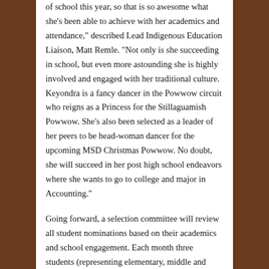of school this year, so that is so awesome what she's been able to achieve with her academics and attendance," described Lead Indigenous Education Liaison, Matt Remle. "Not only is she succeeding in school, but even more astounding she is highly involved and engaged with her traditional culture. Keyondra is a fancy dancer in the Powwow circuit who reigns as a Princess for the Stillaguamish Powwow. She's also been selected as a leader of her peers to be head-woman dancer for the upcoming MSD Christmas Powwow. No doubt, she will succeed in her post high school endeavors where she wants to go to college and major in Accounting."
Going forward, a selection committee will review all student nominations based on their academics and school engagement. Each month three students (representing elementary, middle and high school levels) will be recognized as students of the month. For more information or to nominate a student, please contact Director of Equity, Diversity & Indigenous Education, Deborah Dostes at 360-965-0350.